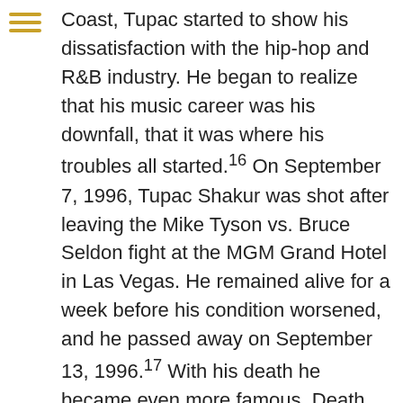Coast, Tupac started to show his dissatisfaction with the hip-hop and R&B industry. He began to realize that his music career was his downfall, that it was where his troubles all started.16 On September 7, 1996, Tupac Shakur was shot after leaving the Mike Tyson vs. Bruce Seldon fight at the MGM Grand Hotel in Las Vegas. He remained alive for a week before his condition worsened, and he passed away on September 13, 1996.17 With his death he became even more famous. Death Row released the album he was currently working on at the time of his death, proving that Tupac's legacy would still go on through his music even though his life was over.18 To this day, Tupac is still one of the most influential rappers who has ever lived. His music was much more than just rap. It was, and continues to be, the story of his life, which was a life that influenced people around the world and